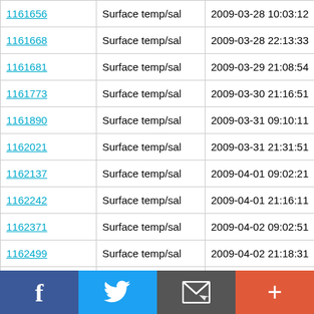| 1161656 | Surface temp/sal | 2009-03-28 10:03:12 | 53.329 N |
| 1161668 | Surface temp/sal | 2009-03-28 22:13:33 | 53.336 N |
| 1161681 | Surface temp/sal | 2009-03-29 21:08:54 | 53.33 N |
| 1161773 | Surface temp/sal | 2009-03-30 21:16:51 | 53.337 N |
| 1161890 | Surface temp/sal | 2009-03-31 09:10:11 | 53.33 N |
| 1162021 | Surface temp/sal | 2009-03-31 21:31:51 | 53.336 N |
| 1162137 | Surface temp/sal | 2009-04-01 09:02:21 | 53.33 N |
| 1162242 | Surface temp/sal | 2009-04-01 21:16:11 | 53.337 N |
| 1162371 | Surface temp/sal | 2009-04-02 09:02:51 | 53.33 N |
| 1162499 | Surface temp/sal | 2009-04-02 21:18:31 | 53.338 N |
| 1162623 | Surface temp/sal | 2009-04-03 08:57:43 | 53.33 N |